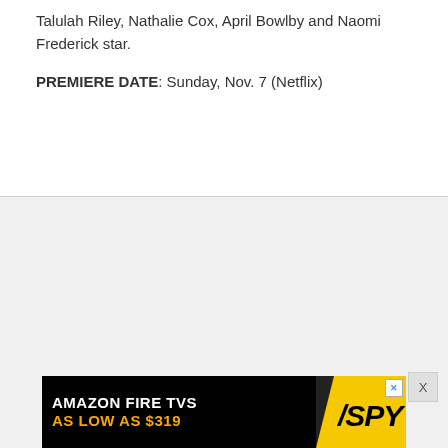Talulah Riley, Nathalie Cox, April Bowlby and Naomi Frederick star.
PREMIERE DATE: Sunday, Nov. 7 (Netflix)
[Figure (other): Advertisement banner: AMAZON FIRE TVS AS LOW AS $319 with SPY logo on yellow background]